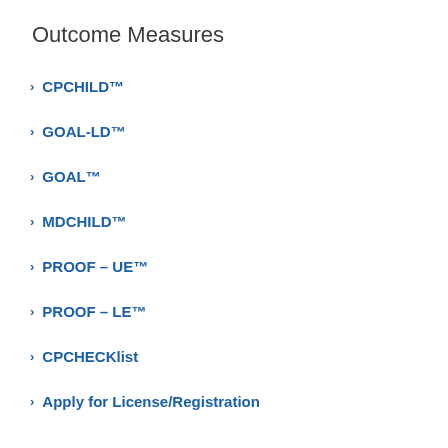Outcome Measures
CPCHILD™
GOAL-LD™
GOAL™
MDCHILD™
PROOF – UE™
PROOF – LE™
CPCHECKlist
Apply for License/Registration